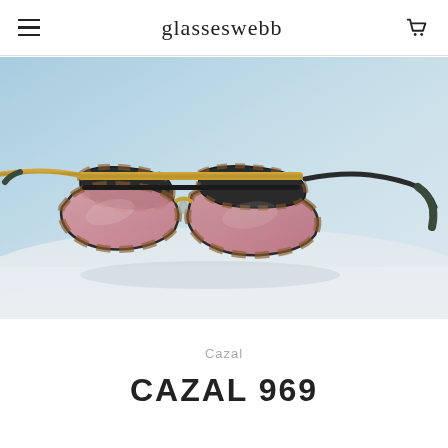glasseswebb
[Figure (photo): Product photo of Cazal designer sunglasses with tortoise shell frame accents, gold and black metal frame, and pink/rose tinted lenses displayed on a white surface against a light blue background.]
Cazal
CAZAL 969